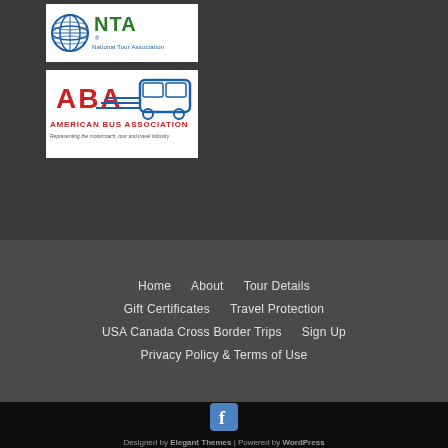[Figure (logo): NTA National Tour Association logo — white rectangle with blue globe graphic and green NTA text]
[Figure (logo): ABA American Bus Association logo — white rectangle with red ABA text, blue bus graphic, and tagline 'Representing the motorcoach, tour and travel industry']
Home | About | Tour Details
Gift Certificates | Travel Protection
USA Canada Cross Border Trips | Sign Up
Privacy Policy & Terms of Use
[Figure (logo): Facebook icon — blue 'f' on dark background]
Designed by Elegant Themes | Powered by WordPress